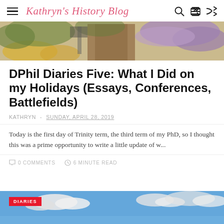Kathryn's History Blog
[Figure (photo): Hero image of a stone building entrance with wisteria and yellow flowers]
DPhil Diaries Five: What I Did on my Holidays (Essays, Conferences, Battlefields)
KATHRYN - SUNDAY, APRIL 28, 2019
Today is the first day of Trinity term, the third term of my PhD, so I thought this was a prime opportunity to write a little update of w...
0 COMMENTS  6 MINUTE READ
[Figure (photo): Partial preview of next article image showing blue sky with clouds, with a red DIARIES badge]